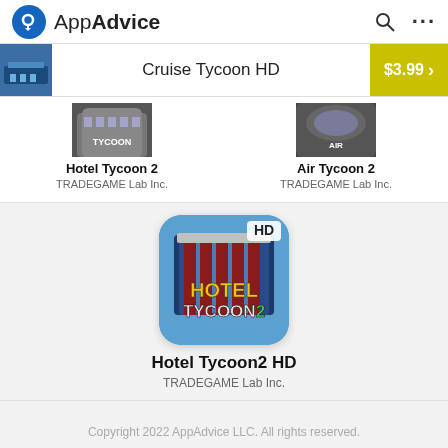AppAdvice
Cruise Tycoon HD  $3.99
[Figure (screenshot): Partially visible app icons for Hotel Tycoon 2 and Air Tycoon 2]
Hotel Tycoon 2
TRADEGAME Lab Inc.
Air Tycoon 2
TRADEGAME Lab Inc.
[Figure (illustration): Hotel Tycoon2 HD app icon showing hotel building with HD badge and colorful logo]
Hotel Tycoon2 HD
TRADEGAME Lab Inc.
Copyright 2022 AppAdvice LLC. All rights reserved.